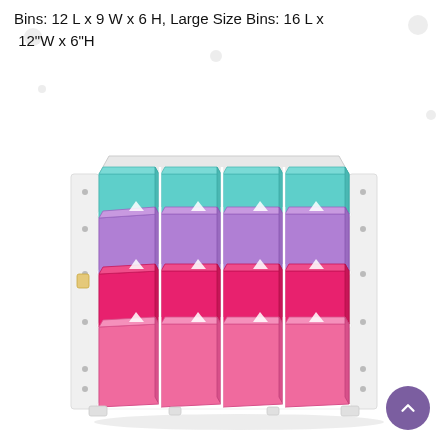Bins: 12 L x 9 W x 6 H, Large Size Bins: 16 L x 12"W x 6"H
[Figure (photo): A white-framed toy storage organizer with four rows of colorful plastic bins: top row has 4 teal/light-blue bins, second row has 4 purple/lavender bins, third row has 4 hot-pink bins, and bottom row has 4 pink bins. The unit has white metal rails and white wooden side panels with screw holes.]